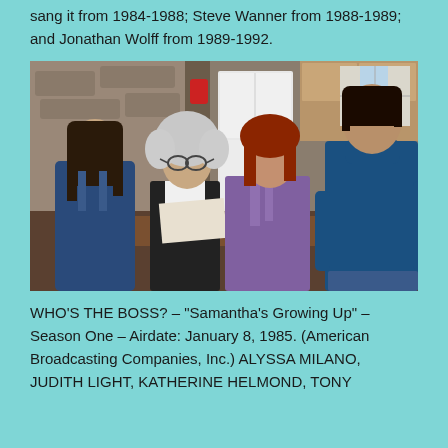sang it from 1984-1988; Steve Wanner from 1988-1989; and Jonathan Wolff from 1989-1992.
[Figure (photo): Scene from Who's The Boss TV show. Four people in a kitchen scene: a young girl in denim jacket on the left, an older woman with glasses and gray hair reading a paper, a woman with red hair in purple blouse, and a tall dark-haired man in a blue turtleneck sweater standing on the right. Rustic kitchen setting with refrigerator, stone walls, and curtained window in background.]
WHO'S THE BOSS? – "Samantha's Growing Up" – Season One – Airdate: January 8, 1985. (American Broadcasting Companies, Inc.) ALYSSA MILANO, JUDITH LIGHT, KATHERINE HELMOND, TONY